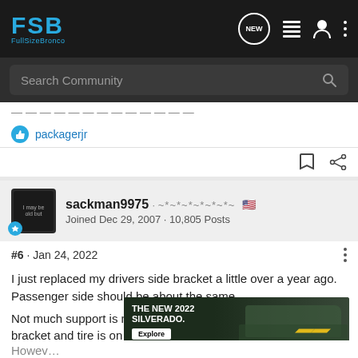FSB FullSizeBronco — navigation bar with Search Community
packagerjr
sackman9975 · ~*~*~*~*~*~*~ 🇺🇸
Joined Dec 29, 2007 · 10,805 Posts
#6 · Jan 24, 2022
I just replaced my drivers side bracket a little over a year ago. Passenger side should be about the same.
Not much support is needed if radius am is still connected to its bracket and tire is on the ground. Just put a jack under the TTBean...
[Figure (photo): Advertisement for The New 2022 Silverado by Chevrolet with Explore button]